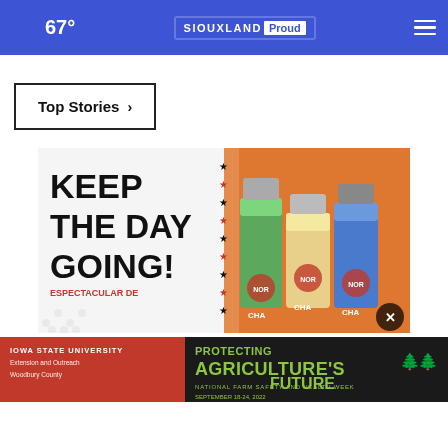67° | Siouxland Proud
Top Stories >
[Figure (photo): Advertisement showing 'KEEP THE DAY GOING! ESPECTACULAR DE' with energy drinks (Señor Lucha branded) on orange background with stars decoration]
[Figure (photo): Iowa State University Extension and Outreach Woodbury County advertisement: PROTECTING AGRICULTURE'S FUTURE - NATIONAL FARM SAFETY AND HEALTH WEEK SEPTEMBER 18-24, 2022]